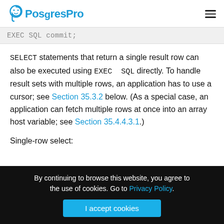PostgresPro
EXEC SQL commit;
SELECT statements that return a single result row can also be executed using EXEC SQL directly. To handle result sets with multiple rows, an application has to use a cursor; see Section 35.3.2 below. (As a special case, an application can fetch multiple rows at once into an array host variable; see Section 35.4.4.3.1.)
Single-row select:
By continuing to browse this website, you agree to the use of cookies. Go to Privacy Policy. I accept cookies